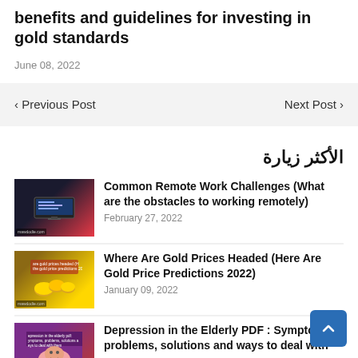benefits and guidelines for investing in gold standards
June 08, 2022
< Previous Post
Next Post >
الأكثر زيارة
[Figure (photo): Thumbnail image for Common Remote Work Challenges article]
Common Remote Work Challenges (What are the obstacles to working remotely)
February 27, 2022
[Figure (photo): Thumbnail image for Where Are Gold Prices Headed article]
Where Are Gold Prices Headed (Here Are Gold Price Predictions 2022)
January 09, 2022
[Figure (photo): Thumbnail image for Depression in the Elderly PDF article]
Depression in the Elderly PDF : Sympto problems, solutions and ways to deal with